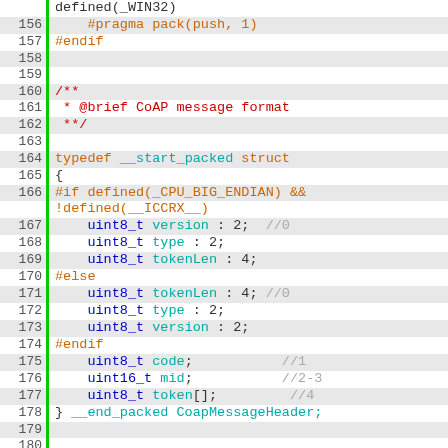Source code listing, lines 156–185, C/C++ header file showing CoAP message format struct definition with preprocessor conditionals for endianness.